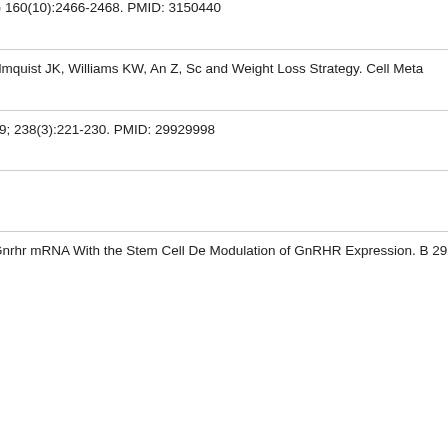7. MacNicol AM, Odle AK, Childs GV. B... mRNA Translation in the Control of G... 160(10):2466-2468. PMID: 3150440... View in: PubMed
8. Zhao S, Zhu Y, Schultz RD, Li N, He... J, Deng Y, Kim M, Lee CE, Gordillo... Elmquist JK, Williams KW, An Z, Sc... and Weight Loss Strategy. Cell Meta... View in: PubMed
9. Allensworth-James ML, Odle A, Har... changes in postnatal GH and PRL s... 09; 238(3):221-230. PMID: 29929988... View in: PubMed
10. Odle A, Allensworth-James M, Child... High-Fat Diet and Obesity. Endocri... View in: PubMed
11. Odle AK, Beneš H, Melgar Castillo A... L, Winter B, Manoharan R, Syed R,... Gnrhr mRNA With the Stem Cell De... Modulation of GnRHR Expression. B... 29228137.